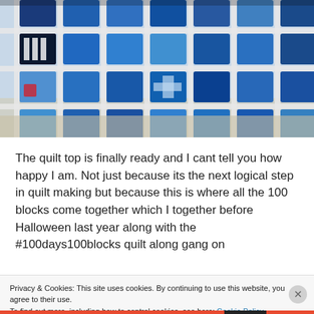[Figure (photo): A blue and white quilt top laid out on a table, showing many square quilt blocks in various shades of blue with white sashing between them.]
The quilt top is finally ready and I cant tell you how happy I am. Not just because its the next logical step in quilt making but because this is where all the 100 blocks come together which I together before Halloween last year along with the #100days100blocks quilt along gang on
Privacy & Cookies: This site uses cookies. By continuing to use this website, you agree to their use.
To find out more, including how to control cookies, see here: Cookie Policy
Close and accept